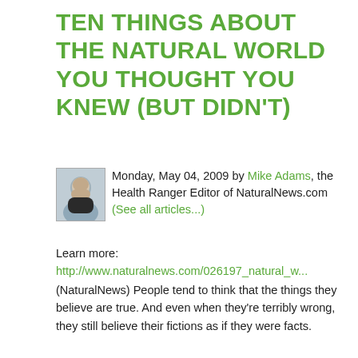TEN THINGS ABOUT THE NATURAL WORLD YOU THOUGHT YOU KNEW (BUT DIDN'T)
Monday, May 04, 2009 by Mike Adams, the Health Ranger Editor of NaturalNews.com (See all articles...)
Learn more: http://www.naturalnews.com/026197_natural_w...
(NaturalNews) People tend to think that the things they believe are true. And even when they're terribly wrong, they still believe their fictions as if they were facts.